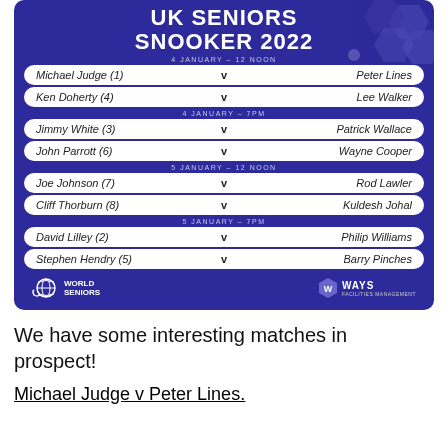[Figure (infographic): UK Seniors Snooker 2022 tournament bracket poster on blue/purple background showing match fixtures for 4-5 January across four sessions (4 Jan 12 Noon, 4 Jan 7PM, 5 Jan 12 Noon, 5 Jan 7PM) with 8 matches listed. World Seniors and WAYS Facilities Management logos at bottom.]
We have some interesting matches in prospect!
Michael Judge v Peter Lines.